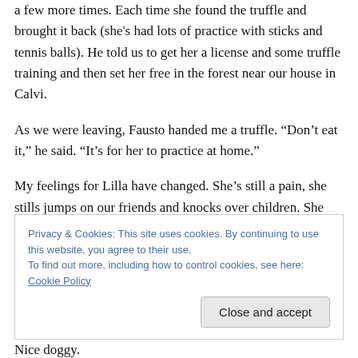a few more times. Each time she found the truffle and brought it back (she's had lots of practice with sticks and tennis balls). He told us to get her a license and some truffle training and then set her free in the forest near our house in Calvi.
As we were leaving, Fausto handed me a truffle. “Don’t eat it,” he said. “It’s for her to practice at home.”
My feelings for Lilla have changed. She’s still a pain, she stills jumps on our friends and knocks over children. She still wants to have a nice long walk right when I’m trying to
Privacy & Cookies: This site uses cookies. By continuing to use this website, you agree to their use.
To find out more, including how to control cookies, see here: Cookie Policy
Nice doggy.